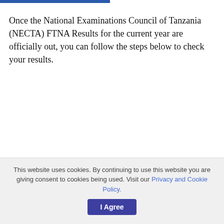Once the National Examinations Council of Tanzania (NECTA) FTNA Results for the current year are officially out, you can follow the steps below to check your results.
This website uses cookies. By continuing to use this website you are giving consent to cookies being used. Visit our Privacy and Cookie Policy.